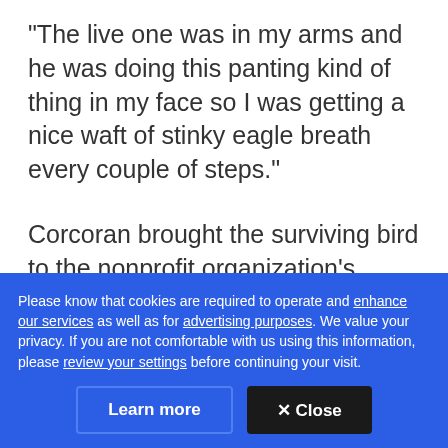"The live one was in my arms and he was doing this panting kind of thing in my face so I was getting a nice waft of stinky eagle breath every couple of steps."
Corcoran brought the surviving bird to the nonprofit organization's headquarters in Ardrossan.
ADVERTISEMENT
Please know that cookies are required to operate and enhance our services as well as for advertising purposes. We value your privacy. If you are not comfortable with us using this information, please review your settings before continuing your visit.